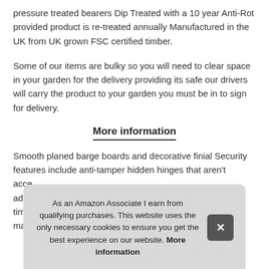pressure treated bearers Dip Treated with a 10 year Anti-Rot provided product is re-treated annually Manufactured in the UK from UK grown FSC certified timber.
Some of our items are bulky so you will need to clear space in your garden for the delivery providing its safe our drivers will carry the product to your garden you must be in to sign for delivery.
More information
Smooth planed barge boards and decorative finial Security features include anti-tamper hidden hinges that aren't accessible from the outside. Strong construction with additional...
As an Amazon Associate I earn from qualifying purchases. This website uses the only necessary cookies to ensure you get the best experience on our website. More information